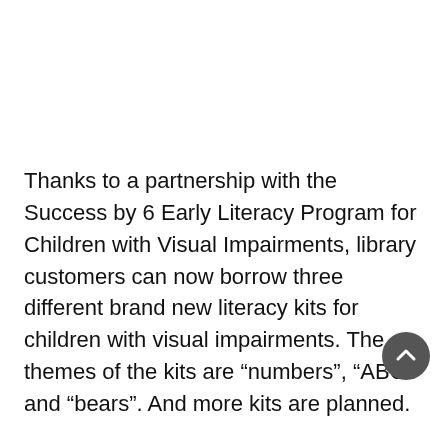Thanks to a partnership with the Success by 6 Early Literacy Program for Children with Visual Impairments, library customers can now borrow three different brand new literacy kits for children with visual impairments. The themes of the kits are “numbers”, “ABCs” and “bears”. And more kits are planned.